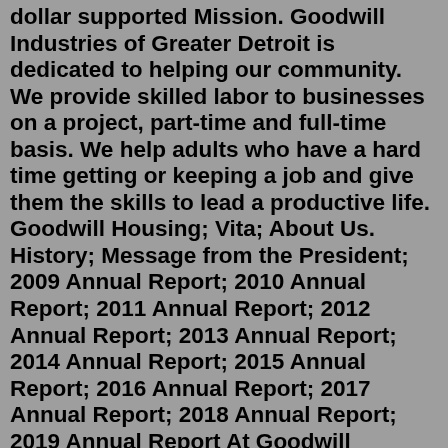dollar supported Mission. Goodwill Industries of Greater Detroit is dedicated to helping our community. We provide skilled labor to businesses on a project, part-time and full-time basis. We help adults who have a hard time getting or keeping a job and give them the skills to lead a productive life. Goodwill Housing; Vita; About Us. History; Message from the President; 2009 Annual Report; 2010 Annual Report; 2011 Annual Report; 2012 Annual Report; 2013 Annual Report; 2014 Annual Report; 2015 Annual Report; 2016 Annual Report; 2017 Annual Report; 2018 Annual Report; 2019 Annual Report At Goodwill Industries of Central Florida's Retail Stores, you can find great bargains, from gently used clothes and accessories to furniture, household items, electronics, and more. You can also donate your gently used items at any of these locations. Learn more about shopping at Goodwill today. Apopka. 1312 East Semoran Boulevard, Apopka ... For over 50 years, your generous donations to Goodwill Industries of Greater Nebraska, have...